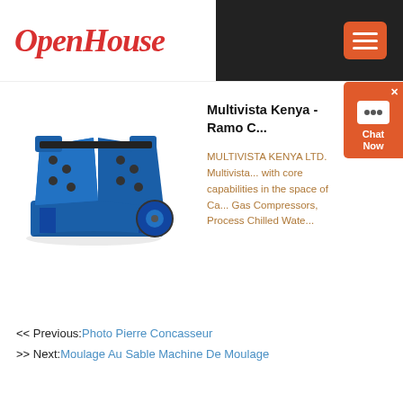OpenHouse
[Figure (photo): Blue industrial jaw crusher / rock crushing machine photographed at an angle, showing heavy-duty metal construction with black belts]
Multivista Kenya - Ramo C...
MULTIVISTA KENYA LTD. Multivista... with core capabilities in the space of Ca... Gas Compressors, Process Chilled Wate...
<< Previous: Photo Pierre Concasseur
>> Next: Moulage Au Sable Machine De Moulage